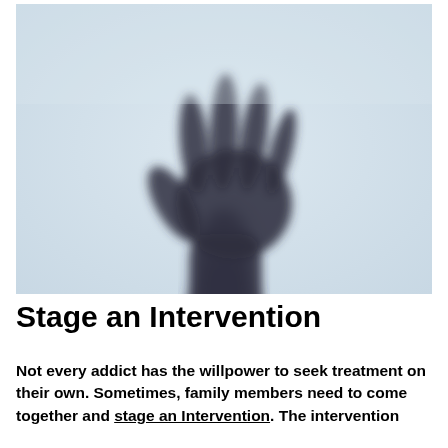[Figure (photo): A silhouette of a hand pressed against frosted glass, with a misty blue-grey background. The hand and arm appear dark and blurred, creating a haunting effect.]
Stage an Intervention
Not every addict has the willpower to seek treatment on their own. Sometimes, family members need to come together and stage an Intervention. The intervention